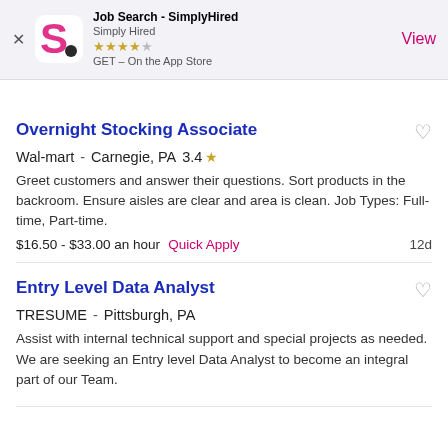[Figure (screenshot): App Store banner for Job Search - SimplyHired app showing logo, 4-star rating, GET button and View link]
Overnight Stocking Associate
Wal-mart - Carnegie, PA 3.4 ★
Greet customers and answer their questions. Sort products in the backroom. Ensure aisles are clear and area is clean. Job Types: Full-time, Part-time.
$16.50 - $33.00 an hour Quick Apply 12d
Entry Level Data Analyst
TRESUME - Pittsburgh, PA
Assist with internal technical support and special projects as needed. We are seeking an Entry level Data Analyst to become an integral part of our Team.